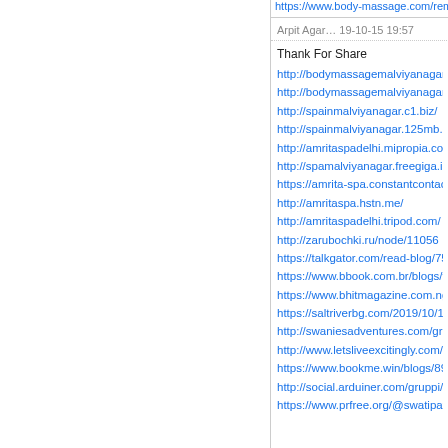https://www.body-massage.com/remai…
Arpit Agar… 19-10-15 19:57
Thank For Share
http://bodymassagemalviyanagar.000a.b…
http://bodymassagemalviyanagar.eu5.or…
http://spainmalviyanagar.c1.biz/
http://spainmalviyanagar.125mb.com/
http://amritaspadelhi.mipropia.com/
http://spamalviyanagar.freegiga.in/
https://amrita-spa.constantcontactsites.c…
http://amritaspa.hstn.me/
http://amritaspadelhi.tripod.com/
http://zarubochki.ru/node/11056
https://talkgator.com/read-blog/7576
https://www.bbook.com.br/blogs/view/…
https://www.bhitmagazine.com.ng/writ…
https://saltriverbg.com/2019/10/12/full-…
http://swaniesadventures.com/groups/h…
http://www.letsliveexcitingly.com/mem…
https://www.bookme.win/blogs/8929/A…
http://social.arduiner.com/gruppi/classi…
https://www.prfree.org/@swatipatnay…